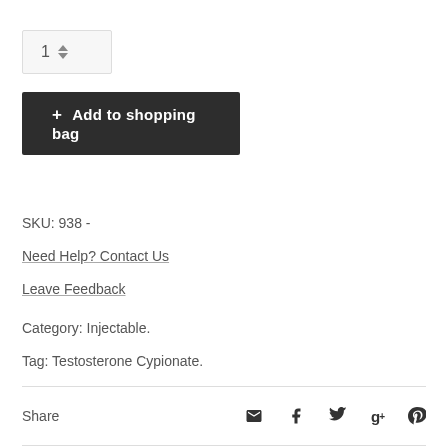[Figure (other): Quantity selector input box showing number 1 with up/down arrows]
+ Add to shopping bag
SKU: 938 -
Need Help? Contact Us
Leave Feedback
Category: Injectable.
Tag: Testosterone Cypionate.
[Figure (other): Share row with label 'Share' and social icons: email, facebook, twitter, google+, pinterest]